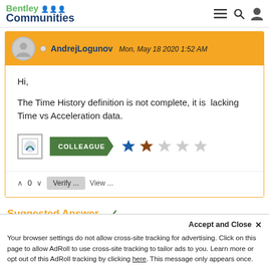Bentley Communities
AndrejLogunov  Mon, May 18 2020 1:52 AM
Hi,

The Time History definition is not complete, it is  lacking Time vs Acceleration data.
[Figure (logo): Colleague badge with Bentley logo icon, green arrow badge labeled COLLEAGUE, and 2 out of 5 stars rating (first star blue, second star red/brown, remaining three grey)]
0  Verify ...  View ...
Suggested Answer ✓
Your browser settings do not allow cross-site tracking for advertising. Click on this page to allow AdRoll to use cross-site tracking to tailor ads to you. Learn more or opt out of this AdRoll tracking by clicking here. This message only appears once.